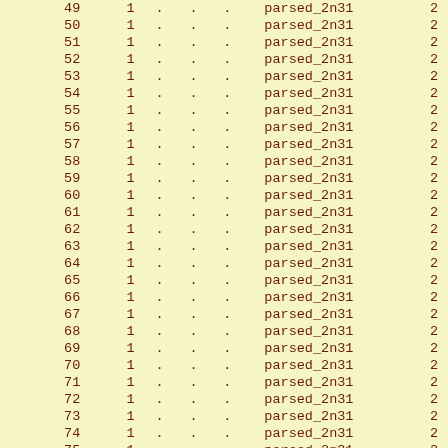| 49 | 1 | . | . | . | parsed_2n31 | 2 |
| 50 | 1 | . | . | . | parsed_2n31 | 2 |
| 51 | 1 | . | . | . | parsed_2n31 | 2 |
| 52 | 1 | . | . | . | parsed_2n31 | 2 |
| 53 | 1 | . | . | . | parsed_2n31 | 2 |
| 54 | 1 | . | . | . | parsed_2n31 | 2 |
| 55 | 1 | . | . | . | parsed_2n31 | 2 |
| 56 | 1 | . | . | . | parsed_2n31 | 2 |
| 57 | 1 | . | . | . | parsed_2n31 | 2 |
| 58 | 1 | . | . | . | parsed_2n31 | 2 |
| 59 | 1 | . | . | . | parsed_2n31 | 2 |
| 60 | 1 | . | . | . | parsed_2n31 | 2 |
| 61 | 1 | . | . | . | parsed_2n31 | 2 |
| 62 | 1 | . | . | . | parsed_2n31 | 2 |
| 63 | 1 | . | . | . | parsed_2n31 | 2 |
| 64 | 1 | . | . | . | parsed_2n31 | 2 |
| 65 | 1 | . | . | . | parsed_2n31 | 2 |
| 66 | 1 | . | . | . | parsed_2n31 | 2 |
| 67 | 1 | . | . | . | parsed_2n31 | 2 |
| 68 | 1 | . | . | . | parsed_2n31 | 2 |
| 69 | 1 | . | . | . | parsed_2n31 | 2 |
| 70 | 1 | . | . | . | parsed_2n31 | 2 |
| 71 | 1 | . | . | . | parsed_2n31 | 2 |
| 72 | 1 | . | . | . | parsed_2n31 | 2 |
| 73 | 1 | . | . | . | parsed_2n31 | 2 |
| 74 | 1 | . | . | . | parsed_2n31 | 2 |
| 75 | 1 | . | . | . | parsed_2n31 | 2 |
| 76 | 1 | . | . | . | parsed_2n31 | 2 |
| 77 | 1 | . | . | . | parsed_2n31 | 2 |
| 78 | 1 | . | . | . | parsed_2n31 | 2 |
| 79 | 1 | . | . | . | parsed_2n31 | 2 |